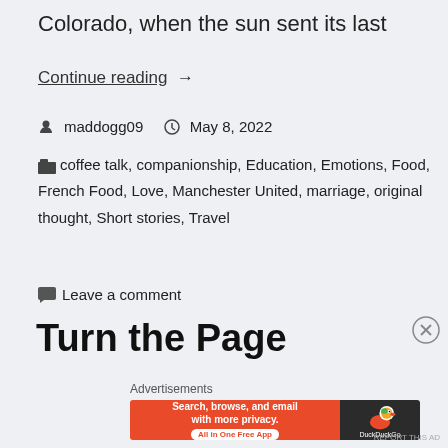Colorado, when the sun sent its last
Continue reading  →
maddogg09   May 8, 2022
coffee talk, companionship, Education, Emotions, Food, French Food, Love, Manchester United, marriage, original thought, Short stories, Travel
Leave a comment
Turn the Page
Advertisements
[Figure (other): DuckDuckGo advertisement banner: Search, browse, and email with more privacy. All in One Free App]